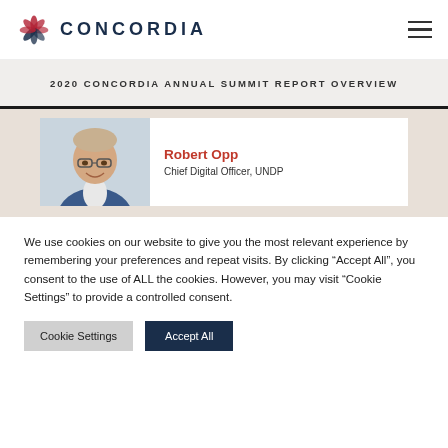CONCORDIA
2020 CONCORDIA ANNUAL SUMMIT REPORT OVERVIEW
[Figure (photo): Portrait photo of Robert Opp, a man with glasses wearing a blue suit, smiling]
Robert Opp
Chief Digital Officer, UNDP
We use cookies on our website to give you the most relevant experience by remembering your preferences and repeat visits. By clicking “Accept All”, you consent to the use of ALL the cookies. However, you may visit "Cookie Settings" to provide a controlled consent.
Cookie Settings
Accept All